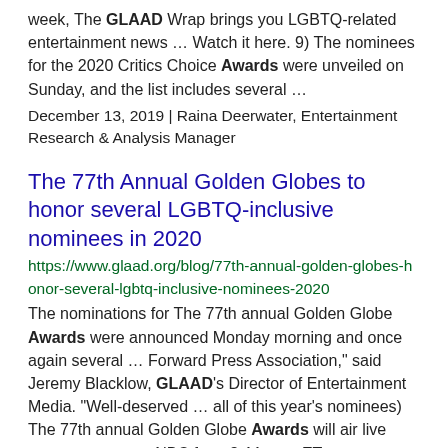week, The GLAAD Wrap brings you LGBTQ-related entertainment news … Watch it here. 9) The nominees for the 2020 Critics Choice Awards were unveiled on Sunday, and the list includes several …
December 13, 2019 | Raina Deerwater, Entertainment Research & Analysis Manager
The 77th Annual Golden Globes to honor several LGBTQ-inclusive nominees in 2020
https://www.glaad.org/blog/77th-annual-golden-globes-honor-several-lgbtq-inclusive-nominees-2020
The nominations for The 77th annual Golden Globe Awards were announced Monday morning and once again several … Forward Press Association," said Jeremy Blacklow, GLAAD's Director of Entertainment Media. "Well-deserved … all of this year's nominees) The 77th annual Golden Globe Awards will air live coast-to-coast on NBC from 8-11 p.m. ET …
December 9, 2019 | Jeremy Blacklow, Director of Entertainment Media